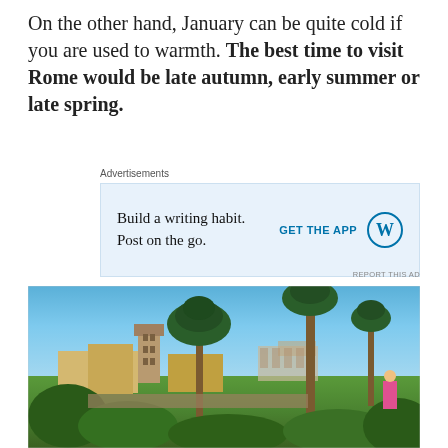On the other hand, January can be quite cold if you are used to warmth. The best time to visit Rome would be late autumn, early summer or late spring.
Advertisements — Build a writing habit. Post on the go. GET THE APP [WordPress logo]
REPORT THIS AD
[Figure (photo): Panoramic view of Rome with tall Mediterranean pine trees in the foreground, a historic tower and ancient buildings in the middle ground, the Colosseum visible in the background, and lush green vegetation. Clear blue sky. A person in a pink shirt is visible at right.]